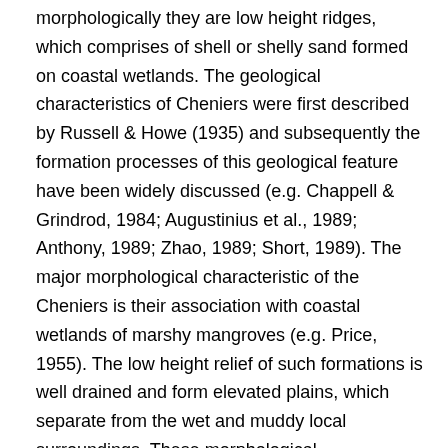morphologically they are low height ridges, which comprises of shell or shelly sand formed on coastal wetlands. The geological characteristics of Cheniers were first described by Russell & Howe (1935) and subsequently the formation processes of this geological feature have been widely discussed (e.g. Chappell & Grindrod, 1984; Augustinius et al., 1989; Anthony, 1989; Zhao, 1989; Short, 1989). The major morphological characteristic of the Cheniers is their association with coastal wetlands of marshy mangroves (e.g. Price, 1955). The low height relief of such formations is well drained and form elevated plains, which separate from the wet and muddy local surroundings. These morphological characteristics had profoundly influenced the habitational choice of the coastal prehistoric groups resulting in a tendency for the appearance of seasonal/temporary prehistoric camps on Chenier ridge surfaces. However these physical characteristics were not the only reason for the attraction of the prehistoric groups to select such locations